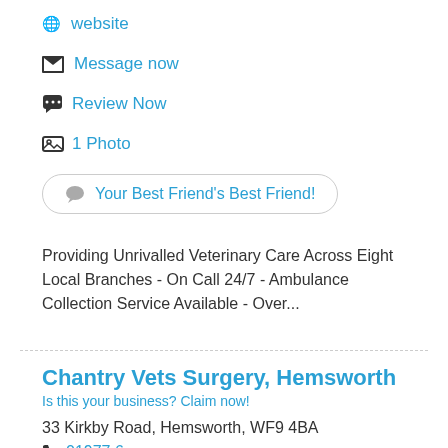website
Message now
Review Now
1 Photo
Your Best Friend's Best Friend!
Providing Unrivalled Veterinary Care Across Eight Local Branches - On Call 24/7 - Ambulance Collection Service Available - Over...
Chantry Vets Surgery, Hemsworth
Is this your business? Claim now!
33 Kirkby Road, Hemsworth, WF9 4BA
01977 6